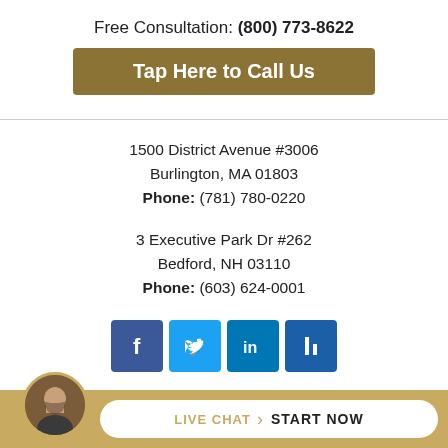Free Consultation: (800) 773-8622
Tap Here to Call Us
1500 District Avenue #3006
Burlington, MA 01803
Phone: (781) 780-0220
3 Executive Park Dr #262
Bedford, NH 03110
Phone: (603) 624-0001
[Figure (logo): Social media icons: Facebook, Twitter, LinkedIn, and one more blue icon]
[Figure (photo): Circular avatar photo of a man in a suit]
LIVE CHAT  START NOW